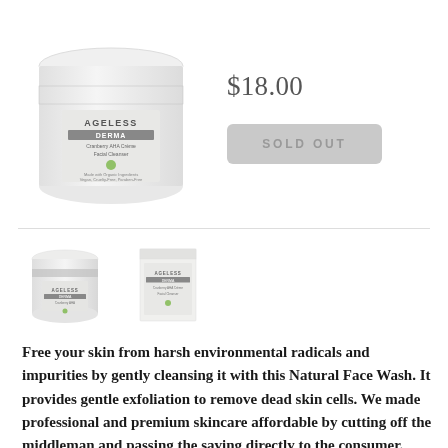[Figure (photo): White jar of Ageless Derma Cranberry AHA Crème Facial Cleanser with silver band near top and label on front]
$18.00
SOLD OUT
[Figure (photo): Thumbnail of the jar product - Ageless Derma Cranberry AHA Crème Facial Cleanser]
[Figure (photo): Thumbnail of the box packaging - Ageless Derma Cranberry AHA Crème Facial Cleanser]
Free your skin from harsh environmental radicals and impurities by gently cleansing it with this Natural Face Wash. It provides gentle exfoliation to remove dead skin cells. We made professional and premium skincare affordable by cutting off the middleman and passing the saving directly to the consumer.